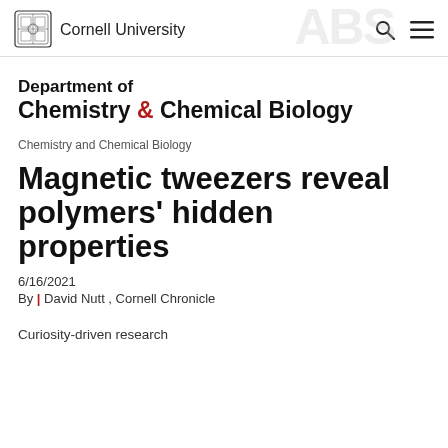Cornell University
Department of Chemistry & Chemical Biology
Chemistry and Chemical Biology
Magnetic tweezers reveal polymers' hidden properties
6/16/2021
By | David Nutt , Cornell Chronicle
Curiosity-driven research...